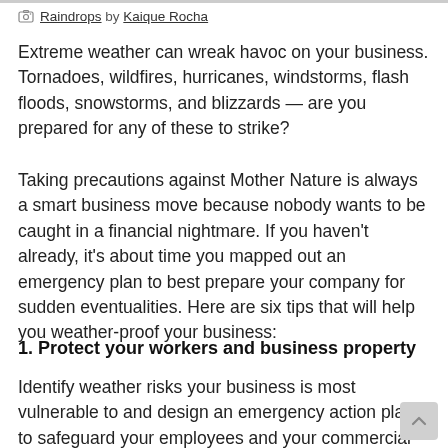Raindrops by Kaique Rocha
Extreme weather can wreak havoc on your business. Tornadoes, wildfires, hurricanes, windstorms, flash floods, snowstorms, and blizzards — are you prepared for any of these to strike?
Taking precautions against Mother Nature is always a smart business move because nobody wants to be caught in a financial nightmare. If you haven't already, it's about time you mapped out an emergency plan to best prepare your company for sudden eventualities. Here are six tips that will help you weather-proof your business:
1. Protect your workers and business property
Identify weather risks your business is most vulnerable to and design an emergency action plan to safeguard your employees and your commercial property. Safety procedures include keeping emergency booklets in common areas and designating offsite locations where your